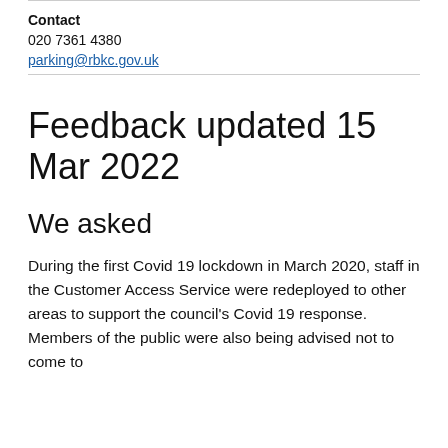Contact
020 7361 4380
parking@rbkc.gov.uk
Feedback updated 15 Mar 2022
We asked
During the first Covid 19 lockdown in March 2020, staff in the Customer Access Service were redeployed to other areas to support the council’s Covid 19 response. Members of the public were also being advised not to come to